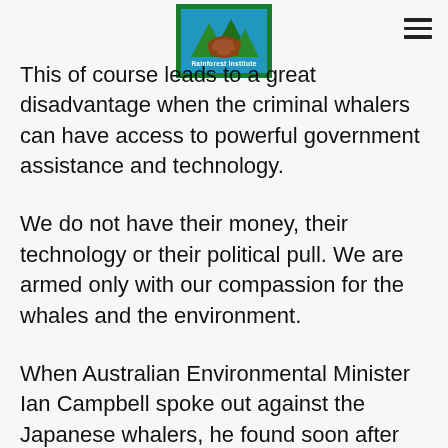Rainforest Institute logo and hamburger menu
This of course leads to a great disadvantage when the criminal whalers can have access to powerful government assistance and technology.
We do not have their money, their technology or their political pull. We are armed only with our compassion for the whales and the environment.
When Australian Environmental Minister Ian Campbell spoke out against the Japanese whalers, he found soon after that he would no longer be Environment Minister. It is becoming a commandment of government that one must not oppose Japanese